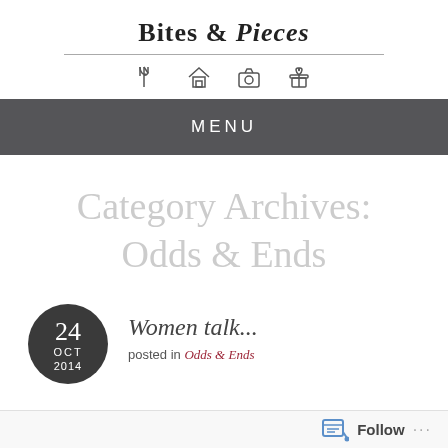Bites & Pieces
MENU
Category Archives: Odds & Ends
Women talk...
posted in Odds & Ends
24 OCT 2014
Follow